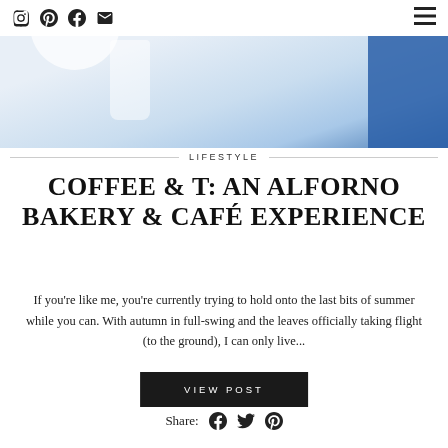Social icons: Instagram, Pinterest, Facebook, Email; Hamburger menu
[Figure (photo): Hero image of a cafe setting with blurred glass/drink and blue accent]
LIFESTYLE
COFFEE & T: AN ALFORNO BAKERY & CAFÉ EXPERIENCE
If you're like me, you're currently trying to hold onto the last bits of summer while you can. With autumn in full-swing and the leaves officially taking flight (to the ground), I can only live...
VIEW POST
Share: